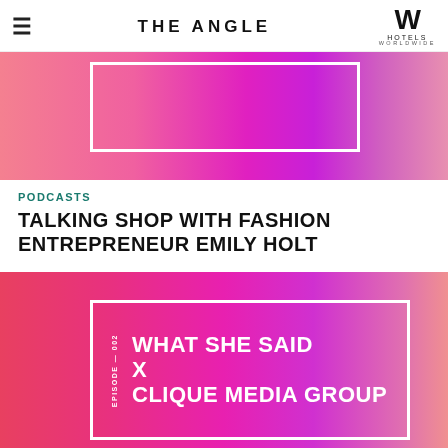THE ANGLE | W HOTELS WORLDWIDE
[Figure (photo): Pink and magenta gradient hero image with a white rectangle outline overlay, partial view of a fashion event]
PODCASTS
TALKING SHOP WITH FASHION ENTREPRENEUR EMILY HOLT
[Figure (photo): Pink and magenta gradient image with two women smiling, white bordered box overlay reading WHAT SHE SAID X CLIQUE MEDIA GROUP with EPISODE 002 label on the side]